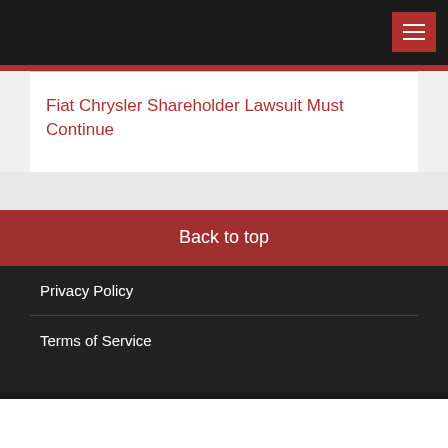Fiat Chrysler Shareholder Lawsuit Must Continue
Back to top
Privacy Policy
Terms of Service